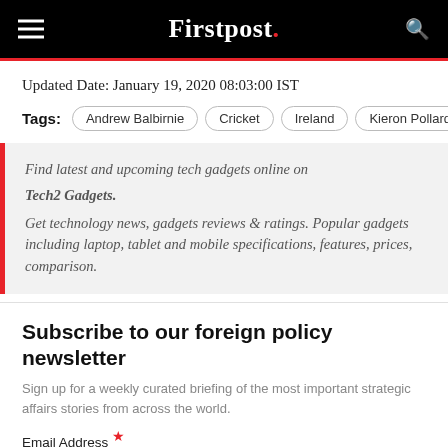Firstpost.
Updated Date: January 19, 2020 08:03:00 IST
Tags: Andrew Balbirnie  Cricket  Ireland  Kieron Pollard  Sport
Find latest and upcoming tech gadgets online on Tech2 Gadgets. Get technology news, gadgets reviews & ratings. Popular gadgets including laptop, tablet and mobile specifications, features, prices, comparison.
Subscribe to our foreign policy newsletter
Sign up for a weekly curated briefing of the most important strategic affairs stories from across the world.
Email Address *